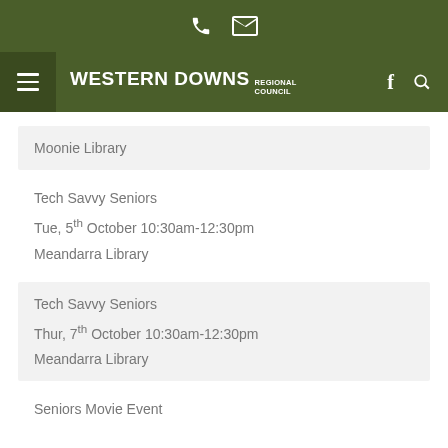Western Downs Regional Council — phone and email contact bar
Western Downs Regional Council navigation bar
Moonie Library
Tech Savvy Seniors
Tue, 5th October 10:30am-12:30pm
Meandarra Library
Tech Savvy Seniors
Thur, 7th October 10:30am-12:30pm
Meandarra Library
Seniors Movie Event